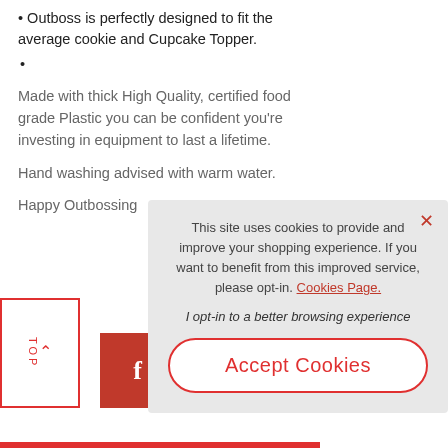Outboss is perfectly designed to fit the average cookie and Cupcake Topper.
Made with thick High Quality, certified food grade Plastic you can be confident you're investing in equipment to last a lifetime.
Hand washing advised with warm water.
Happy Outbossing
[Figure (screenshot): Cookie consent popup overlay with text: 'This site uses cookies to provide and improve your shopping experience. If you want to benefit from this improved service, please opt-in. Cookies Page. I opt-in to a better browsing experience' and an Accept Cookies button.]